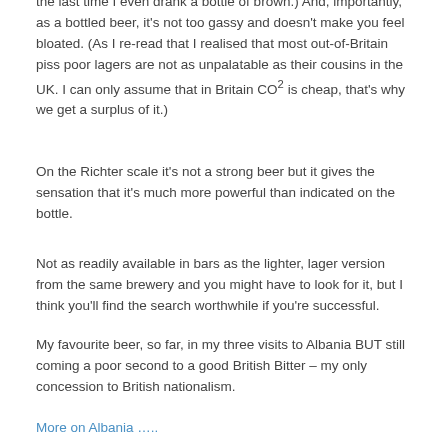the last time I even drank a bottle of brown.) And, importantly, as a bottled beer, it's not too gassy and doesn't make you feel bloated. (As I re-read that I realised that most out-of-Britain piss poor lagers are not as unpalatable as their cousins in the UK. I can only assume that in Britain CO² is cheap, that's why we get a surplus of it.)
On the Richter scale it's not a strong beer but it gives the sensation that it's much more powerful than indicated on the bottle.
Not as readily available in bars as the lighter, lager version from the same brewery and you might have to look for it, but I think you'll find the search worthwhile if you're successful.
My favourite beer, so far, in my three visits to Albania BUT still coming a poor second to a good British Bitter – my only concession to British nationalism.
More on Albania …..